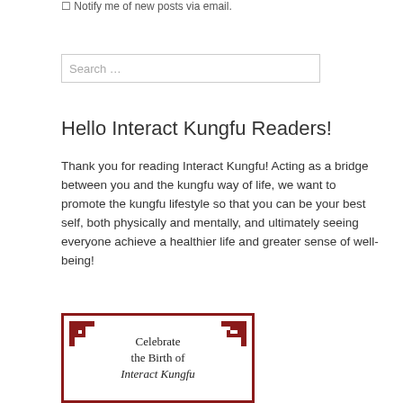Notify me of new posts via email.
Search …
Hello Interact Kungfu Readers!
Thank you for reading Interact Kungfu! Acting as a bridge between you and the kungfu way of life, we want to promote the kungfu lifestyle so that you can be your best self, both physically and mentally, and ultimately seeing everyone achieve a healthier life and greater sense of well-being!
[Figure (illustration): Decorative card with red border and corner ornaments reading 'Celebrate the Birth of Interact Kungfu']